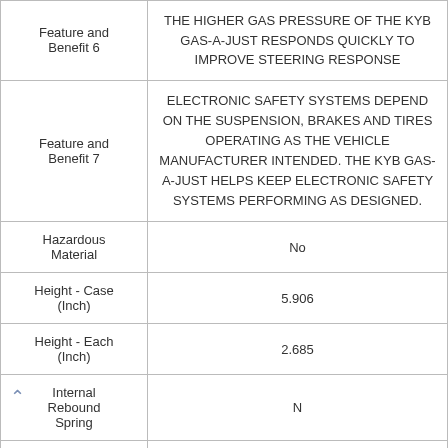| Attribute | Value |
| --- | --- |
| Feature and Benefit 6 | THE HIGHER GAS PRESSURE OF THE KYB GAS-A-JUST RESPONDS QUICKLY TO IMPROVE STEERING RESPONSE |
| Feature and Benefit 7 | ELECTRONIC SAFETY SYSTEMS DEPEND ON THE SUSPENSION, BRAKES AND TIRES OPERATING AS THE VEHICLE MANUFACTURER INTENDED. THE KYB GAS-A-JUST HELPS KEEP ELECTRONIC SAFETY SYSTEMS PERFORMING AS DESIGNED. |
| Hazardous Material | No |
| Height - Case (Inch) | 5.906 |
| Height - Each (Inch) | 2.685 |
| Internal Rebound Spring | N |
| Item Level |  |